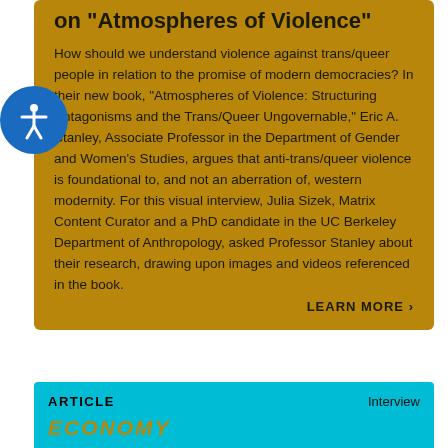on "Atmospheres of Violence"
How should we understand violence against trans/queer people in relation to the promise of modern democracies? In their new book, "Atmospheres of Violence: Structuring Antagonisms and the Trans/Queer Ungovernable," Eric A. Stanley, Associate Professor in the Department of Gender and Women's Studies, argues that anti-trans/queer violence is foundational to, and not an aberration of, western modernity. For this visual interview, Julia Sizek, Matrix Content Curator and a PhD candidate in the UC Berkeley Department of Anthropology, asked Professor Stanley about their research, drawing upon images and videos referenced in the book.
LEARN MORE ›
ARTICLE    Interview
ECONOMY